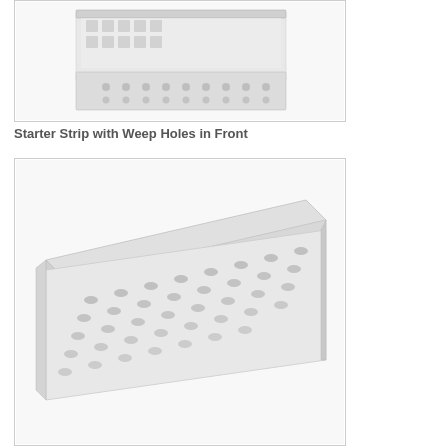[Figure (photo): Starter Strip with Weep Holes in Front - top view showing L-shaped channel profile with perforated holes on front face, white PVC material]
Starter Strip with Weep Holes in Front
[Figure (photo): Starter Strip with Weep Holes in Front - perspective/angled view showing elongated flat strip with rows of circular weep holes, white PVC material, angled perspective showing length of product]